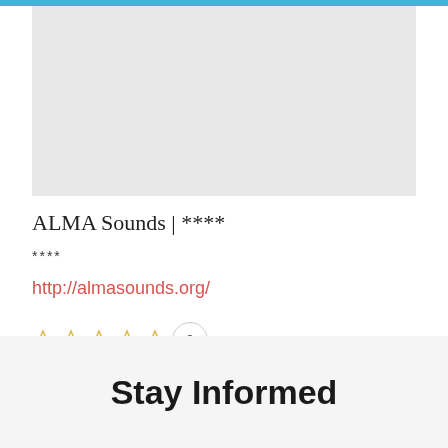[Figure (photo): Light gray image placeholder area at the top of the page]
ALMA Sounds | ****
****
http://almasounds.org/
[Figure (infographic): Five empty star rating icons followed by a circular count badge showing 0]
[Figure (infographic): Social sharing buttons: LinkedIn Share, Tweet button with count 0, Pinterest Save button]
Stay Informed